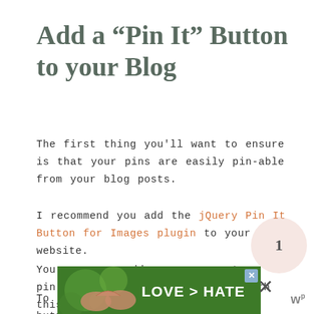Add a “Pin It” Button to your Blog
The first thing you'll want to ensure is that your pins are easily pin-able from your blog posts.
I recommend you add the jQuery Pin It Button for Images plugin to your website.
You can even add your own custom pin-it buttons to your website with this helpful plugin!
To find beautiful Pin It buttons for free to add to your w
[Figure (advertisement): Ad banner showing hands making a heart shape with green bokeh background, text reads LOVE > HATE]